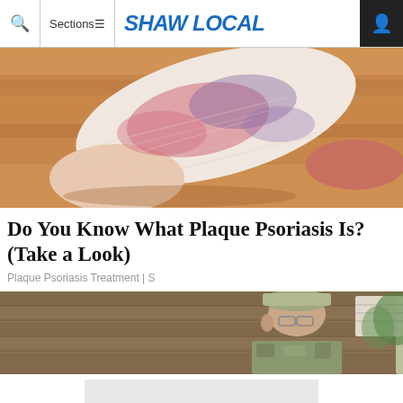Q  Sections≡  SHAW LOCAL  [user icon]
[Figure (photo): Close-up photo of the bottom of a human foot/heel showing red and purple discoloration, resting on a wooden surface, indicating psoriasis symptoms]
Do You Know What Plaque Psoriasis Is? (Take a Look)
Plaque Psoriasis Treatment | S
[Figure (photo): Photo of an older man in military camouflage uniform and cap, wearing glasses, leaning against a brick wall outdoors]
[Figure (photo): Partial/cropped image visible at bottom of page, light gray/white colored box partially visible]